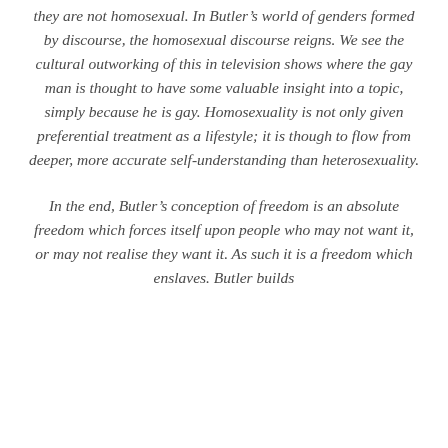they are not homosexual. In Butler's world of genders formed by discourse, the homosexual discourse reigns. We see the cultural outworking of this in television shows where the gay man is thought to have some valuable insight into a topic, simply because he is gay. Homosexuality is not only given preferential treatment as a lifestyle; it is though to flow from deeper, more accurate self-understanding than heterosexuality.
In the end, Butler's conception of freedom is an absolute freedom which forces itself upon people who may not want it, or may not realise they want it. As such it is a freedom which enslaves. Butler builds